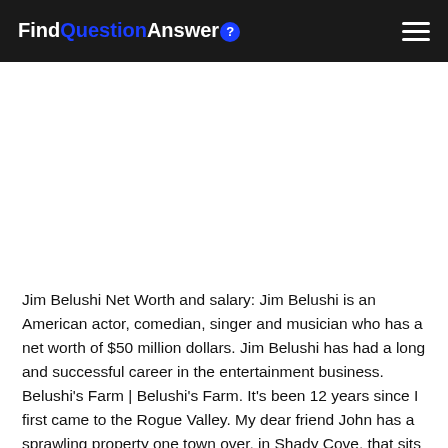FindQuestionAnswer
Jim Belushi Net Worth and salary: Jim Belushi is an American actor, comedian, singer and musician who has a net worth of $50 million dollars. Jim Belushi has had a long and successful career in the entertainment business. Belushi's Farm | Belushi's Farm. It's been 12 years since I first came to the Rogue Valley. My dear friend John has a sprawling property one town over, in Shady Cove, that sits on the Rogue River. Our children were the same ages and in the same classes in Los Angeles and he invited us to join him for the weekend. Jim